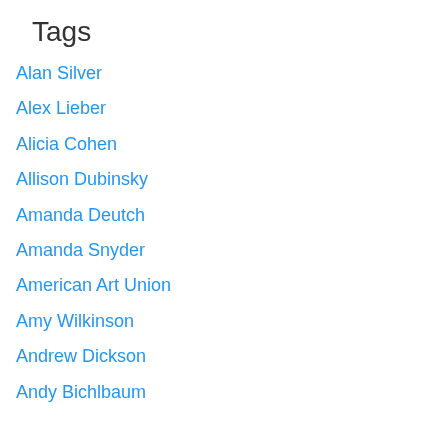Tags
Alan Silver
Alex Lieber
Alicia Cohen
Allison Dubinsky
Amanda Deutch
Amanda Snyder
American Art Union
Amy Wilkinson
Andrew Dickson
Andy Bichlbaum